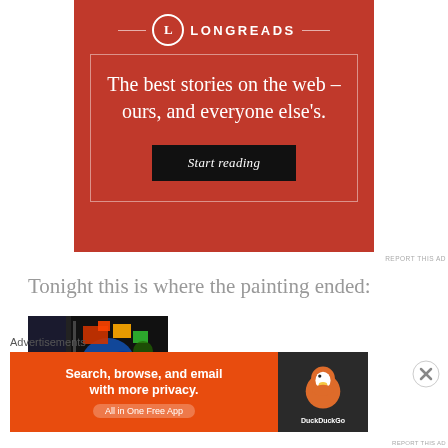[Figure (screenshot): Longreads advertisement: red background with white circle logo containing letter L, site name LONGREADS, tagline 'The best stories on the web – ours, and everyone else's.' with black 'Start reading' button, surrounded by thin white border]
REPORT THIS AD
Tonight this is where the painting ended:
[Figure (photo): Colorful abstract painting in progress on an easel, with bright blues, reds, yellows, and greens visible]
Advertisements
[Figure (screenshot): DuckDuckGo advertisement: orange background on left with text 'Search, browse, and email with more privacy.' and 'All in One Free App', dark right panel with DuckDuckGo duck logo and DuckDuckGo text]
REPORT THIS AD